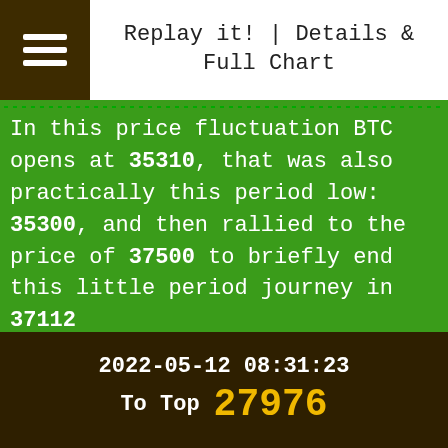Replay it! | Details & Full Chart
In this price fluctuation BTC opens at 35310, that was also practically this period low: 35300, and then rallied to the price of 37500 to briefly end this little period journey in 37112
...More
2022-05-12 08:31:23 To Top 27976